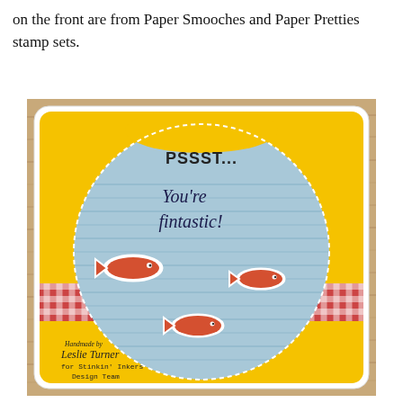on the front are from Paper Smooches and Paper Pretties stamp sets.
[Figure (photo): A handmade greeting card featuring a fish bowl design on a yellow card base with a red gingham ribbon band. The fish bowl is a large circle in light blue with wavy texture, containing the text 'PSSST...' at the top and 'You're fintastic!' in cursive, with three orange fish. Bottom left has a stamped signature reading 'Handmade by Leslie Turner for Stinkin' Inkers Design Team'.]